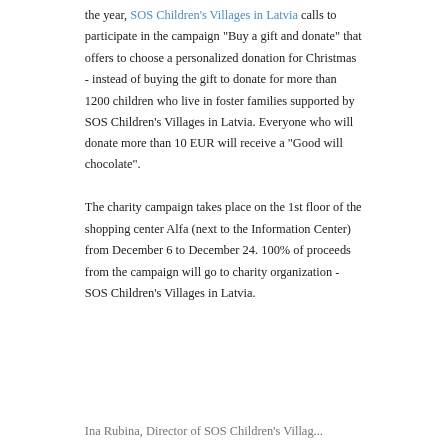the year, SOS Children's Villages in Latvia calls to participate in the campaign "Buy a gift and donate" that offers to choose a personalized donation for Christmas - instead of buying the gift to donate for more than 1200 children who live in foster families supported by SOS Children's Villages in Latvia. Everyone who will donate more than 10 EUR will receive a "Good will chocolate".
The charity campaign takes place on the 1st floor of the shopping center Alfa (next to the Information Center) from December 6 to December 24. 100% of proceeds from the campaign will go to charity organization - SOS Children's Villages in Latvia.
Ina Rubina, Director of SOS Children's Villag...